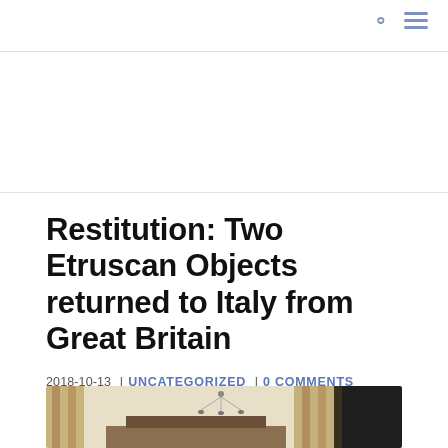Restitution: Two Etruscan Objects returned to Italy from Great Britain
2018-10-13 | UNCATEGORIZED | 0 COMMENTS
[Figure (photo): Interior room photo showing curtains and a chandelier, partially visible at bottom of page]